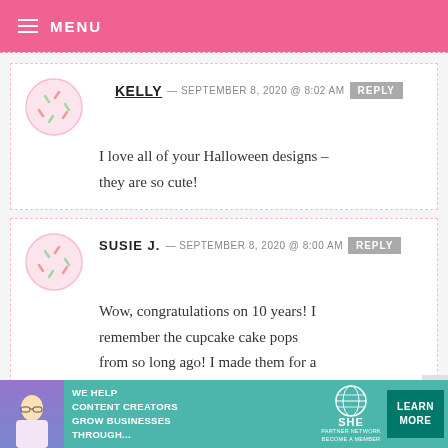MENU
KELLY — SEPTEMBER 8, 2020 @ 8:02 AM  REPLY
I love all of your Halloween designs – they are so cute!
SUSIE J. — SEPTEMBER 8, 2020 @ 8:00 AM  REPLY
Wow, congratulations on 10 years! I remember the cupcake cake pops from so long ago! I made them for a
[Figure (infographic): SHE Media Partner Network advertisement banner: WE HELP CONTENT CREATORS GROW BUSINESSES THROUGH... with LEARN MORE button]